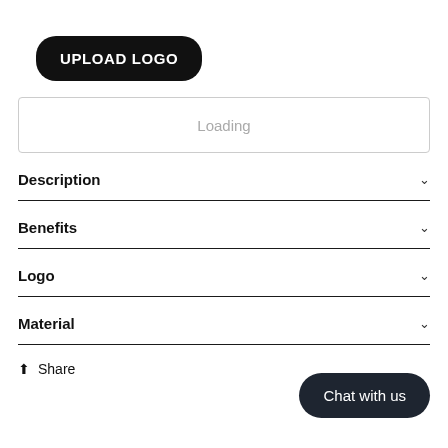[Figure (logo): Black rounded rectangle button with white bold uppercase text 'UPLOAD LOGO']
Loading
Description
Benefits
Logo
Material
Share
Chat with us